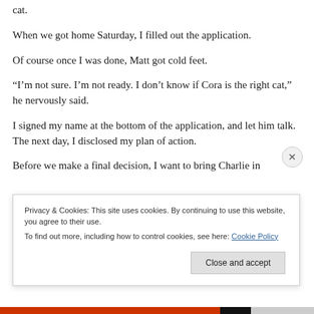cat.
When we got home Saturday, I filled out the application.
Of course once I was done, Matt got cold feet.
“I’m not sure. I’m not ready. I don’t know if Cora is the right cat,” he nervously said.
I signed my name at the bottom of the application, and let him talk. The next day, I disclosed my plan of action.
Before we make a final decision, I want to bring Charlie in
Privacy & Cookies: This site uses cookies. By continuing to use this website, you agree to their use.
To find out more, including how to control cookies, see here: Cookie Policy
Close and accept